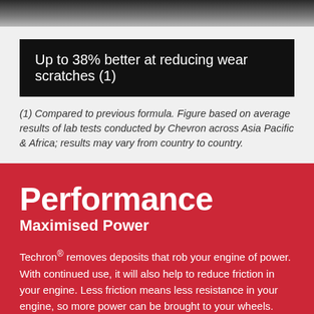Up to 38% better at reducing wear scratches (1)
(1) Compared to previous formula. Figure based on average results of lab tests conducted by Chevron across Asia Pacific & Africa; results may vary from country to country.
Performance
Maximised Power
Techron® removes deposits that rob your engine of power. With continued use, it will also help to reduce friction in your engine. Less friction means less resistance in your engine, so more power can be brought to your wheels.